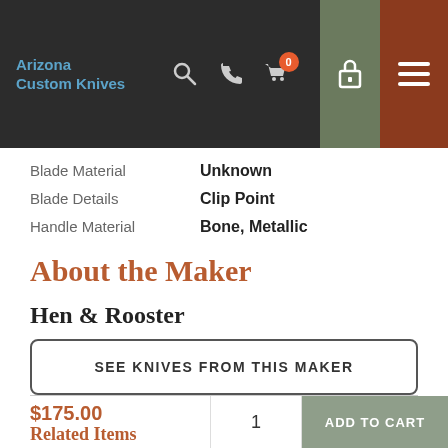[Figure (screenshot): Arizona Custom Knives website navigation bar with logo, search icon, phone icon, cart icon with badge showing 0, lock icon, and hamburger menu]
| Blade Material | Unknown |
| Blade Details | Clip Point |
| Handle Material | Bone, Metallic |
About the Maker
Hen & Rooster
SEE KNIVES FROM THIS MAKER
$175.00
Related Items
1
ADD TO CART